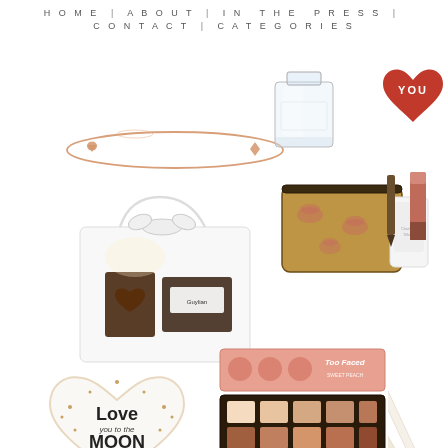HOME | ABOUT | IN THE PRESS | CONTACT | CATEGORIES
[Figure (photo): Rose gold thin bangle bracelet with small heart charm]
[Figure (photo): Clear glass square perfume bottle]
[Figure (photo): Red heart badge/sticker with text 'YOU']
[Figure (photo): White gift bag with chocolates and Guylian branding]
[Figure (photo): Makeup cosmetics bag with lip print pattern, containing lipstick, liner and cream]
[Figure (photo): White heart-shaped dish with text 'Love you to the MOON and back' and gold star dots]
[Figure (photo): Too Faced eyeshadow palette in pink packaging with peach/brown shades]
[Figure (photo): Diagonal white sticks/brushes on white background, right edge]